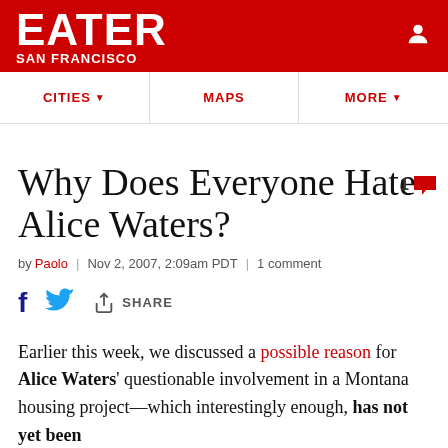EATER SAN FRANCISCO
CITIES ▼   MAPS   MORE ▼
Why Does Everyone Hate Alice Waters?
by Paolo | Nov 2, 2007, 2:09am PDT | 1 comment
Earlier this week, we discussed a possible reason for Alice Waters' questionable involvement in a Montana housing project—which interestingly enough, has not yet been